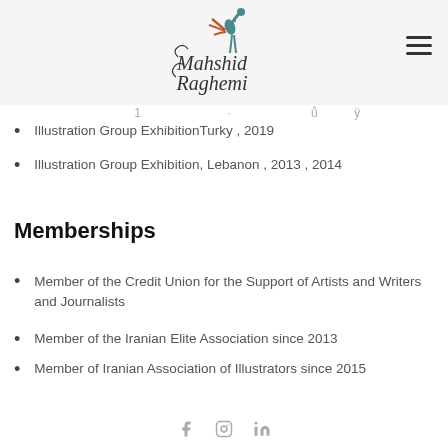[Figure (logo): Mahshid Raghemi logo with stylized bird and cursive script text]
Illustration Group ExhibitionTurky , 2019
Illustration Group Exhibition, Lebanon , 2013 , 2014
Memberships
Member of the Credit Union for the Support of Artists and Writers and Journalists
Member of the Iranian Elite Association since 2013
Member of Iranian Association of Illustrators since 2015
f  in (social media icons: Facebook, Instagram, LinkedIn)